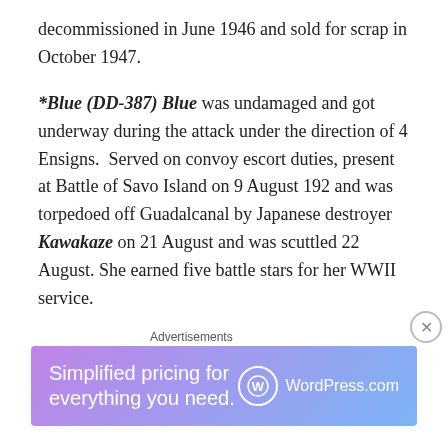decommissioned in June 1946 and sold for scrap in October 1947.
*Blue (DD-387) Blue was undamaged and got underway during the attack under the direction of 4 Ensigns.  Served on convoy escort duties, present at Battle of Savo Island on 9 August 192 and was torpedoed off Guadalcanal by Japanese destroyer Kawakaze on 21 August and was scuttled 22 August. She earned five battle stars for her WWII service.
Helm (DD-388) Helm was underway, nearing West Loch at the time of the attack. Helm served in the Solomons and the South Pacific until February 19. She joined the fast
[Figure (infographic): WordPress.com advertisement banner with gradient purple-blue background. Text: 'Simplified pricing for everything you need.' with WordPress.com logo on the right. Labeled 'Advertisements' above.]